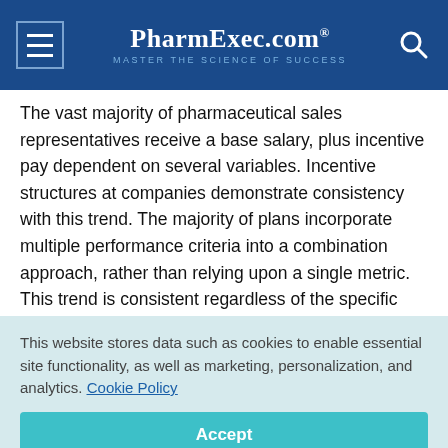PharmExec.com — MASTER THE SCIENCE OF SUCCESS
The vast majority of pharmaceutical sales representatives receive a base salary, plus incentive pay dependent on several variables. Incentive structures at companies demonstrate consistency with this trend. The majority of plans incorporate multiple performance criteria into a combination approach, rather than relying upon a single metric. This trend is consistent regardless of the specific sales force population.
This website stores data such as cookies to enable essential site functionality, as well as marketing, personalization, and analytics. Cookie Policy
Accept
Deny